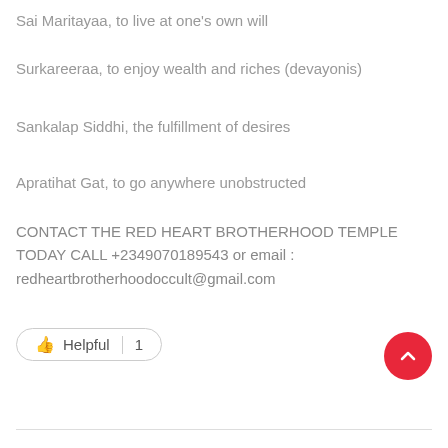Sai Maritayaa, to live at one's own will
Surkareeraa, to enjoy wealth and riches (devayonis)
Sankalap Siddhi, the fulfillment of desires
Apratihat Gat, to go anywhere unobstructed
CONTACT THE RED HEART BROTHERHOOD TEMPLE TODAY CALL +2349070189543 or email : redheartbrotherhoodoccult@gmail.com